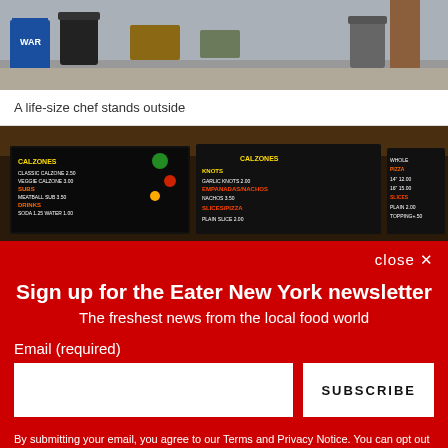[Figure (photo): Top portion of outdoor scene with trash cans, blue mailbox, people, and urban surroundings]
A life-size chef stands outside
[Figure (photo): Interior of a pizza/calzone restaurant showing large menu boards on the wall with colorful text listing food items]
close ✕
Sign up for the Eater New York newsletter
The freshest news from the local food world
Email (required)
SUBSCRIBE
By submitting your email, you agree to our Terms and Privacy Notice. You can opt out at any time. This site is protected by reCAPTCHA and the Google Privacy Policy and Terms of Service apply.